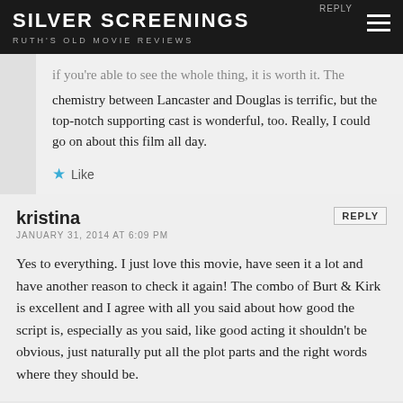SILVER SCREENINGS
RUTH'S OLD MOVIE REVIEWS
if you're able to see the whole thing, it is worth it. The chemistry between Lancaster and Douglas is terrific, but the top-notch supporting cast is wonderful, too. Really, I could go on about this film all day.
Like
kristina
JANUARY 31, 2014 AT 6:09 PM
Yes to everything. I just love this movie, have seen it a lot and have another reason to check it again!  The combo of Burt & Kirk is excellent and I agree with all you said about how good the script is, especially as you said, like good acting it shouldn't be obvious, just naturally put all the plot parts and the right words where they should be.